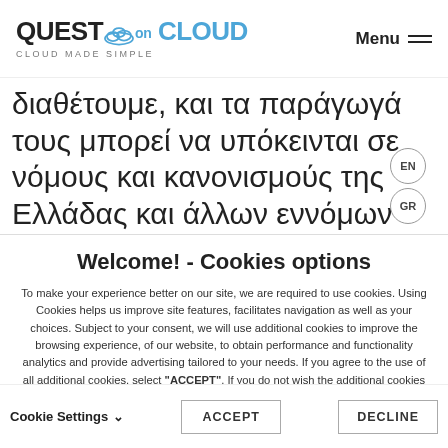QuestonCloud – Cloud Made Simple | Menu
διαθέτουμε, και τα παράγωγά τους μπορεί να υπόκεινται σε νόμους και κανονισμούς της Ελλάδας και άλλων εννόμων τάξεων περί ελέγχου των εξαγωγών. Τα μέρη δηλώνουν
Welcome! - Cookies options
To make your experience better on our site, we are required to use cookies. Using Cookies helps us improve site features, facilitates navigation as well as your choices. Subject to your consent, we will use additional cookies to improve the browsing experience, of our website, to obtain performance and functionality analytics and provide advertising tailored to your needs. If you agree to the use of all additional cookies, select "ACCEPT". If you do not wish the additional cookies to be installed, select "DECLINE". Be informed about our
Cookie Settings ∨   ACCEPT   DECLINE